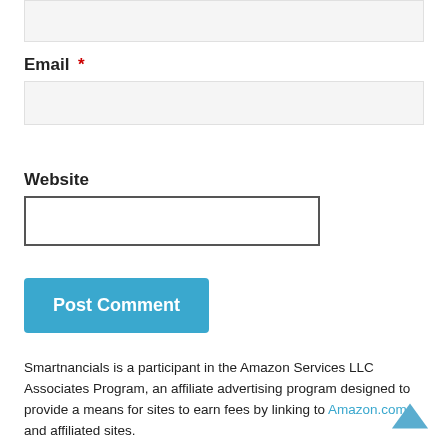[Figure (other): Top portion of a comment/text input area (textarea), partially visible at the top of the page, light gray background with border]
Email *
[Figure (other): Email input field, light gray background with border]
Website
[Figure (other): Website input field, white background with dark border outline]
Post Comment
Smartnancials is a participant in the Amazon Services LLC Associates Program, an affiliate advertising program designed to provide a means for sites to earn fees by linking to Amazon.com and affiliated sites.